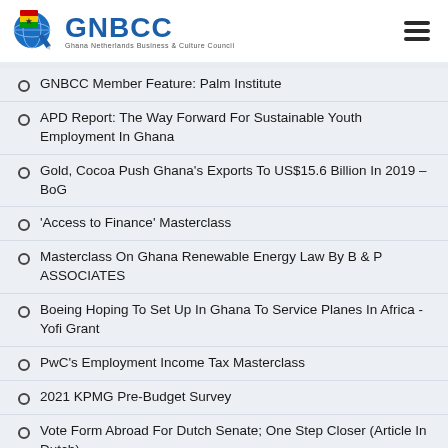GNBCC — Ghana Netherlands Business & Culture Council
GNBCC Member Feature: Palm Institute
APD Report: The Way Forward For Sustainable Youth Employment In Ghana
Gold, Cocoa Push Ghana's Exports To US$15.6 Billion In 2019 – BoG
'Access to Finance' Masterclass
Masterclass On Ghana Renewable Energy Law By B & P ASSOCIATES
Boeing Hoping To Set Up In Ghana To Service Planes In Africa - Yofi Grant
PwC's Employment Income Tax Masterclass
2021 KPMG Pre-Budget Survey
Vote Form Abroad For Dutch Senate; One Step Closer (Article In Dutch)